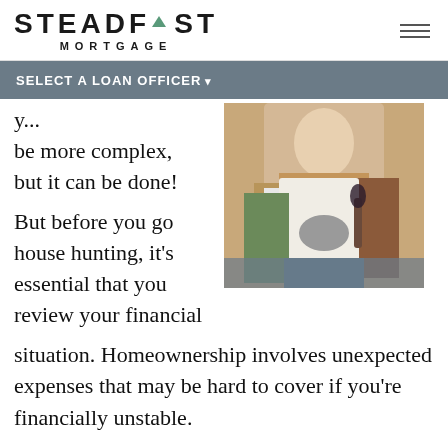[Figure (logo): Steadfast Mortgage logo with green caret replacing the A in STEADFAST]
SELECT A LOAN OFFICER ▾
y... be more complex, but it can be done!
[Figure (photo): Two people sitting on a couch, one in tan overalls and white shirt holding a snack bowl, the other in an orange jacket holding a wine glass]
But before you go house hunting, it's essential that you review your financial situation. Homeownership involves unexpected expenses that may be hard to cover if you're financially unstable.